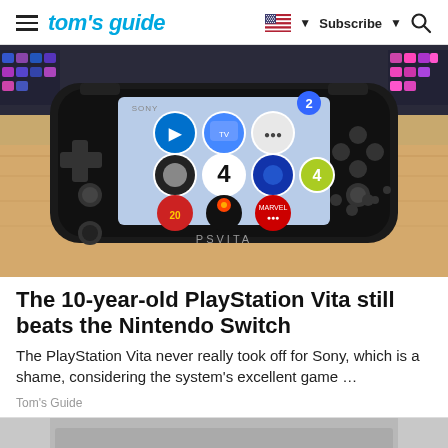tom's guide | Subscribe
[Figure (photo): A Sony PlayStation Vita handheld gaming console showing the home screen with app icons, placed on a wooden surface with a colorful keyboard in the background.]
The 10-year-old PlayStation Vita still beats the Nintendo Switch
The PlayStation Vita never really took off for Sony, which is a shame, considering the system's excellent game …
Tom's Guide
[Figure (photo): Partial view of hands holding a small device, bottom of page.]